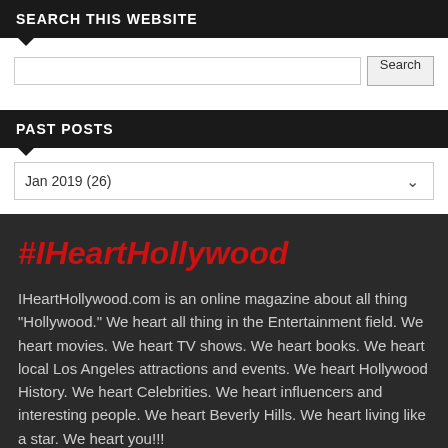SEARCH THIS WEBSITE
Search
PAST POSTS
Jan 2019 (26)
#IHeartHollywood
IHeartHollywood.com is an online magazine about all thing "Hollywood." We heart all thing in the Entertainment field. We heart movies. We heart TV shows. We heart books. We heart local Los Angeles attractions and events. We heart Hollywood History. We heart Celebrities. We heart influencers and interesting people. We heart Beverly Hills. We heart living like a star. We heart you!!!